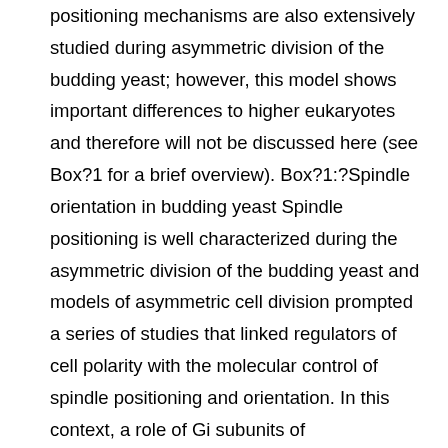positioning mechanisms are also extensively studied during asymmetric division of the budding yeast; however, this model shows important differences to higher eukaryotes and therefore will not be discussed here (see Box?1 for a brief overview). Box?1:?Spindle orientation in budding yeast Spindle positioning is well characterized during the asymmetric division of the budding yeast and models of asymmetric cell division prompted a series of studies that linked regulators of cell polarity with the molecular control of spindle positioning and orientation. In this context, a role of Gi subunits of heterotrimeric G proteins and the adaptor molecule LGN (leucineCglycineCasparagine) in spindle orientation was initially identified in embryonic neuroblasts 21, 22. Later work revealed the evolutionary conservation of this complex in numerous metazoans, and how it interacts with the NuMA (nuclear and mitotic apparatus) adaptor to recruit the dynein motor complex to the cell cortex in symmetrically and asymmetrically dividing cells to achieve orientated cell ...